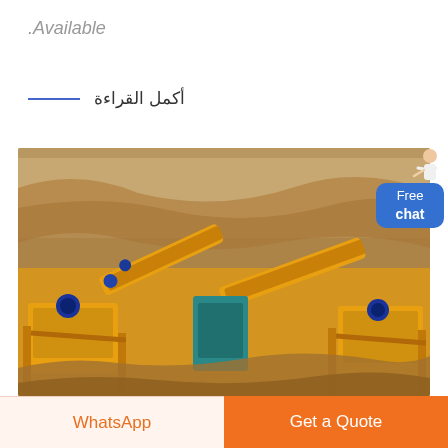.Available
أكمل القراءة
[Figure (photo): Mining/quarrying site with yellow industrial conveyor belt and crushing machinery in an open-pit quarry with rocky terrain in background]
Free chat
WhatsApp
Get a Quote